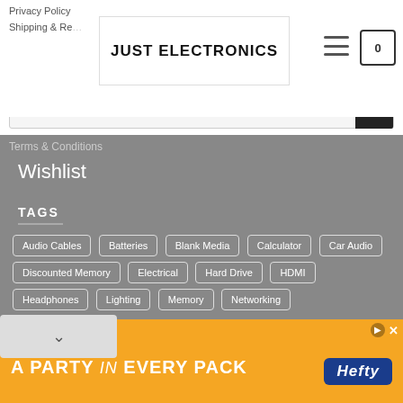Privacy Policy
Shipping & Returns
[Figure (logo): Just Electronics logo in black bold uppercase text on white background]
[Figure (screenshot): Hamburger menu icon and cart icon showing 0]
[Figure (screenshot): Search bar with placeholder text 'Search...' and black search button]
Terms & Conditions
Wishlist
TAGS
Audio Cables
Batteries
Blank Media
Calculator
Car Audio
Discounted Memory
Electrical
Hard Drive
HDMI
Headphones
Lighting
Memory
Networking
...atellite
Speciality Batteries
SSD
[Figure (infographic): Orange advertisement banner reading 'A PARTY in EVERY PACK' with Hefty logo]